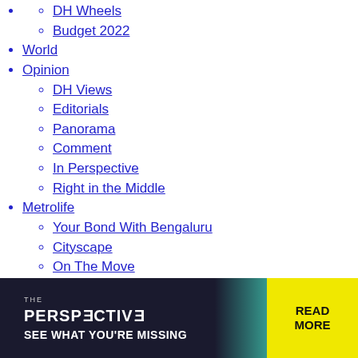DH Wheels
Budget 2022
World
Opinion
DH Views
Editorials
Panorama
Comment
In Perspective
Right in the Middle
Metrolife
Your Bond With Bengaluru
Cityscape
On The Move
Lifestyle
Entertainment
Entertainment News
DH Showtime
DH Talkies
Arts, Books & Culture
Videos
Latest Videos
[Figure (infographic): Advertisement banner: THE PERSPECTIVE - SEE WHAT YOU'RE MISSING - READ MORE, dark background with teal and yellow accent]